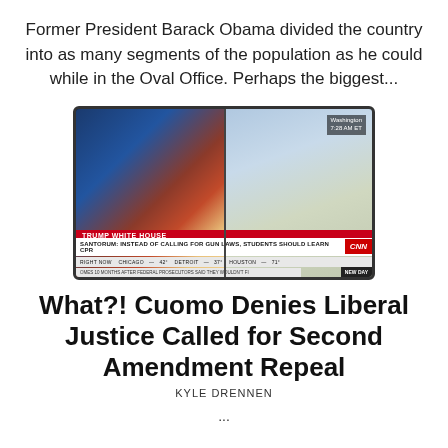Former President Barack Obama divided the country into as many segments of the population as he could while in the Oval Office. Perhaps the biggest...
[Figure (screenshot): CNN TV screenshot showing two men in split screen. Red banner reads 'TRUMP WHITE HOUSE'. Headline bar reads 'SANTORUM: INSTEAD OF CALLING FOR GUN LAWS, STUDENTS SHOULD LEARN CPR'. Location label shows 'Washington 7:28 AM ET'. LIVE label visible. CNN logo in red. Ticker bar at bottom shows cities and temperatures.]
What?! Cuomo Denies Liberal Justice Called for Second Amendment Repeal
KYLE DRENNEN
...